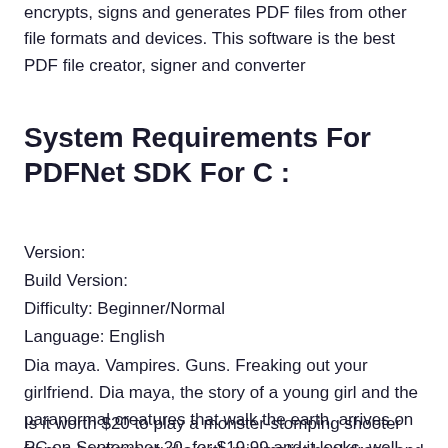encrypts, signs and generates PDF files from other file formats and devices. This software is the best PDF file creator, signer and converter
System Requirements For PDFNet SDK For C :
Version:
Build Version:
Difficulty: Beginner/Normal
Language: English
Dia maya. Vampires. Guns. Freaking out your girlfriend. Dia maya, the story of a young girl and the paranormal creatures that walk the earth, arrives on PC on September 20, for $19.99 and it looks, well, kinda like this:
Is it worth $20 to play a monster-stomping shooter from a boutique studio with minimalist backdrops and a strong